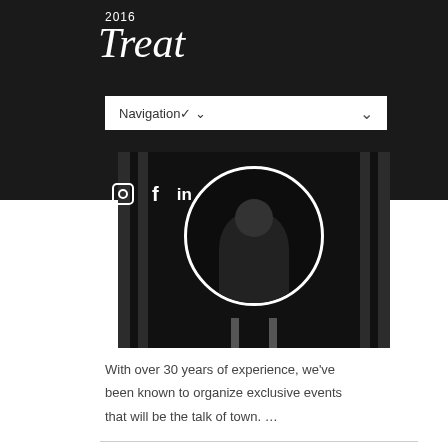2016
Treat
[Figure (screenshot): Navigation dropdown bar with 'Navigation' label and chevron, social media icons (Instagram, Facebook, LinkedIn), and a dark dramatic black and white event photo in a circular frame with vertical bar decorations]
With over 30 years of experience, we've been known to organize exclusive events that will be the talk of town. …